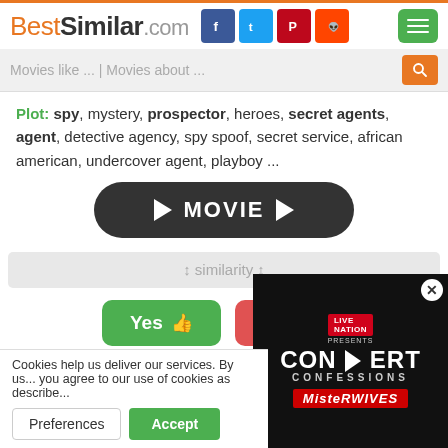BestSimilar.com
Movies like ... | Movies about ...
Plot: spy, mystery, prospector, heroes, secret agents, agent, detective agency, spy spoof, secret service, african american, undercover agent, playboy ...
[Figure (other): Dark rounded button with play arrows and text MOVIE]
↕ similarity ↕
[Figure (other): Yes thumbs-up button (green) and No thumbs-down button (red)]
Cookies help us deliver our services. By us... you agree to our use of cookies as describe...
[Figure (other): Live Nation Concert Confessions - MisteRWives advertisement overlay]